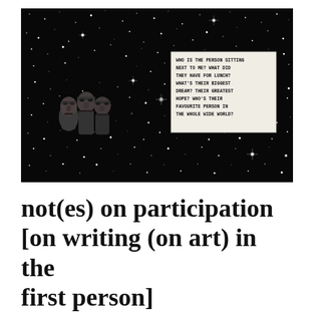[Figure (illustration): A black starfield/night sky background with many bright white star points scattered across. On the left-center area, three stone-like silhouette figures (resembling Easter Island moai) are grouped together. On the right side, a light-colored rectangular note box contains handwritten-style text in capitals reading: 'WHO IS THE PERSON SITTING NEXT TO ME? WHAT DID THEY HAVE FOR LUNCH? WHAT'S THEIR BIGGEST DREAM? THEIR GREATEST HOPE? WHO'S THEIR FAVOURITE PERSON IN THE WHOLE WIDE WORLD?']
not(es) on participation [on writing (on art) in the first person]